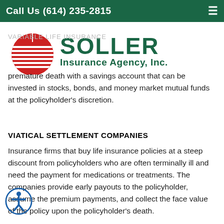Call Us (614) 235-2815
[Figure (logo): Soller Insurance Agency, Inc. logo with red circle/sun graphic and green text]
premature death with a savings account that can be invested in stocks, bonds, and money market mutual funds at the policyholder's discretion.
VIATICAL SETTLEMENT COMPANIES
Insurance firms that buy life insurance policies at a steep discount from policyholders who are often terminally ill and need the payment for medications or treatments. The companies provide early payouts to the policyholder, assume the premium payments, and collect the face value of the policy upon the policyholder's death.